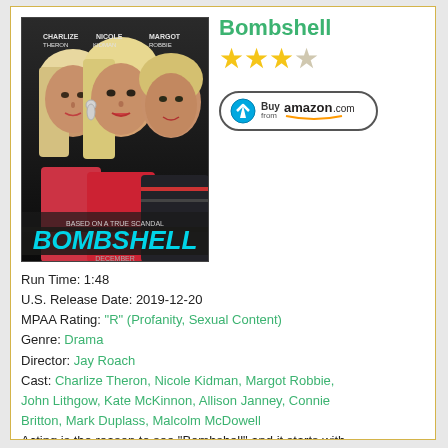Bombshell
[Figure (illustration): Movie poster for Bombshell featuring Charlize Theron, Nicole Kidman, and Margot Robbie]
★★★☆ (3 out of 4 stars)
[Figure (logo): Buy from amazon.com button]
Run Time: 1:48
U.S. Release Date: 2019-12-20
MPAA Rating: "R" (Profanity, Sexual Content)
Genre: Drama
Director: Jay Roach
Cast: Charlize Theron, Nicole Kidman, Margot Robbie, John Lithgow, Kate McKinnon, Allison Janney, Connie Britton, Mark Duplass, Malcolm McDowell
Acting is the reason to see "Bombshell" and it starts with